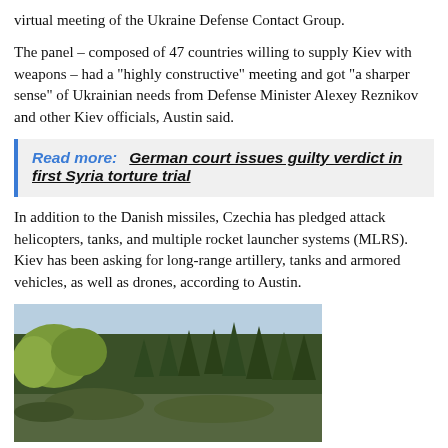virtual meeting of the Ukraine Defense Contact Group.
The panel – composed of 47 countries willing to supply Kiev with weapons – had a "highly constructive" meeting and got "a sharper sense" of Ukrainian needs from Defense Minister Alexey Reznikov and other Kiev officials, Austin said.
Read more:   German court issues guilty verdict in first Syria torture trial
In addition to the Danish missiles, Czechia has pledged attack helicopters, tanks, and multiple rocket launcher systems (MLRS). Kiev has been asking for long-range artillery, tanks and armored vehicles, as well as drones, according to Austin.
[Figure (photo): A photo showing a treeline of pine and deciduous trees against a light sky, viewed from ground level.]